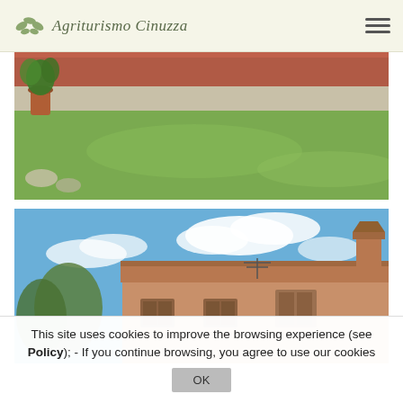Agriturismo Cinuzza
[Figure (photo): Outdoor garden area showing green lawn, potted plants with foliage, stone path, and terracotta-colored brick surface in the background]
[Figure (photo): Exterior view of a traditional Italian farmhouse (agriturismo) with terracotta roof tiles, brick walls, red shutters, TV antenna, and blue sky with white clouds in background; trees visible on the left]
This site uses cookies to improve the browsing experience (see Policy);   -   If you continue browsing, you agree to use our cookies
OK